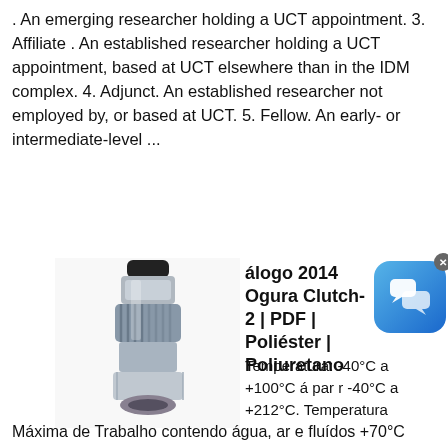. An emerging researcher holding a UCT appointment. 3. Affiliate . An established researcher holding a UCT appointment, based at UCT elsewhere than in the IDM complex. 4. Adjunct. An established researcher not employed by, or based at UCT. 5. Fellow. An early- or intermediate-level ...
[Figure (photo): Photo of a hydraulic coupling / hose fitting connector, metallic silver and black, shown at an angle.]
álogo 2014 Ogura Clutch-2 | PDF | Poliéster | Poliuretano
Temperatura: -40°C a +100°C á par r -40°C a +212°C. Temperatura Máxima de Trabalho contendo água, ar e fluídos +70°C . (158°F) Construção: Tubo: Núcleo Interno em poliamida. Reforço: 1 ou 2 Trançados de aço. Cobertura: Poliuretano an -abrasão estabilizado. aos raios UV e resistente aos micro-organismos.
[Figure (photo): Partial view of blue hose/pipe coil at bottom of page.]
Utilize mangueira